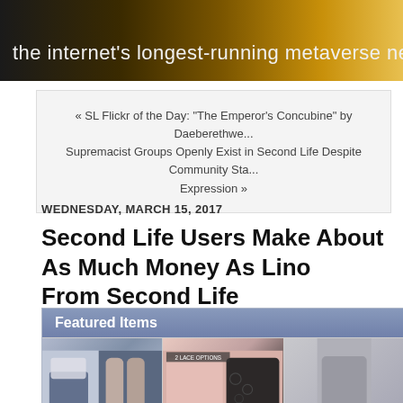the internet's longest-running metaverse news and cultu...
« SL Flickr of the Day: "The Emperor's Concubine" by Daeberethwen
Supremacist Groups Openly Exist in Second Life Despite Community Sta...
Expression »
WEDNESDAY, MARCH 15, 2017
Second Life Users Make About As Much Money As Lind... From Second Life
Featured Items
[Figure (photo): Second Life avatar clothing item: *Tay-Lay-Designs* Street Style-Outfit 32 (Mesh)]
*Tay-Lay-Designs* Street Style-Outfit 32 (Mesh)
[Figure (photo): Second Life avatar dress: [bali mai] 060 Sheer lace dress w/color HUD Dress mos...]
[bali mai] 060 Sheer lace dress w/color HUD Dress mos...
[Figure (photo): Third featured item (partially visible)]